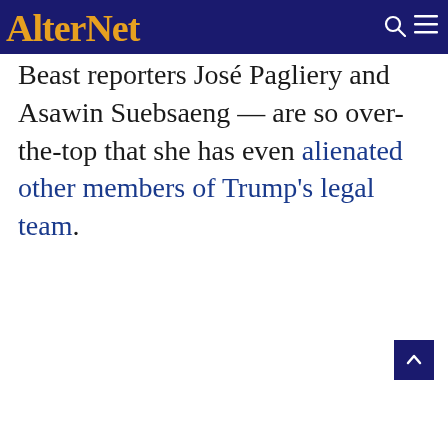AlterNet
Beast reporters José Pagliery and Asawin Suebsaeng — are so over-the-top that she has even alienated other members of Trump's legal team.